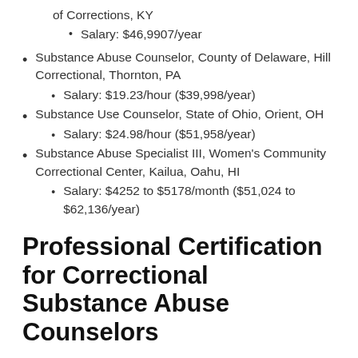of Corrections, KY
Salary: $46,9907/year
Substance Abuse Counselor, County of Delaware, Hill Correctional, Thornton, PA
Salary: $19.23/hour ($39,998/year)
Substance Use Counselor, State of Ohio, Orient, OH
Salary: $24.98/hour ($51,958/year)
Substance Abuse Specialist III, Women's Community Correctional Center, Kailua, Oahu, HI
Salary: $4252 to $5178/month ($51,024 to $62,136/year)
Professional Certification for Correctional Substance Abuse Counselors